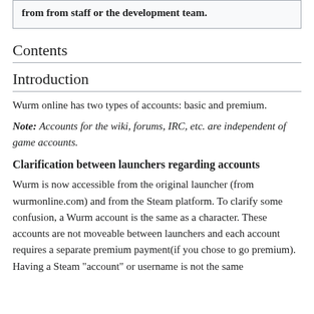from from staff or the development team.
Contents
Introduction
Wurm online has two types of accounts: basic and premium.
Note: Accounts for the wiki, forums, IRC, etc. are independent of game accounts.
Clarification between launchers regarding accounts
Wurm is now accessible from the original launcher (from wurmonline.com) and from the Steam platform. To clarify some confusion, a Wurm account is the same as a character. These accounts are not moveable between launchers and each account requires a separate premium payment(if you chose to go premium). Having a Steam "account" or username is not the same